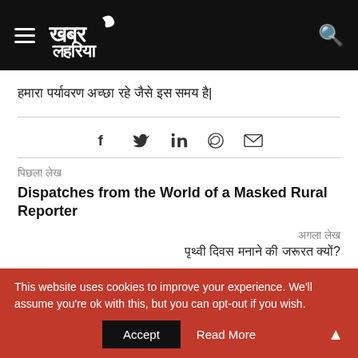Khabar Lahariya (Hindi newspaper logo)
हमारा पर्यावरण अच्छा रहे जैसे इस समय है|
[Figure (infographic): Social share icons: Facebook, Twitter, LinkedIn, WhatsApp, Email]
पिछला लेख
Dispatches from the World of a Masked Rural Reporter
अगला लेख
पृथ्वी दिवस मनाने की जरूरत क्यों?
This website uses cookies to improve your experience. We'll assume you're ok with this, but you can opt-out if you wish.